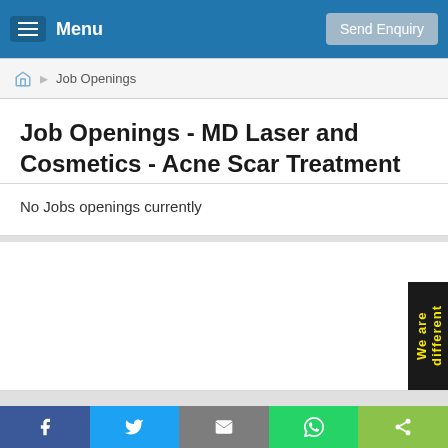Menu | Send Enquiry
Job Openings
Job Openings - MD Laser and Cosmetics - Acne Scar Treatment
No Jobs openings currently
[Figure (screenshot): Side tab reading 'We are different' in yellow text on black background]
Share buttons: Facebook, Twitter, Email, WhatsApp, Share